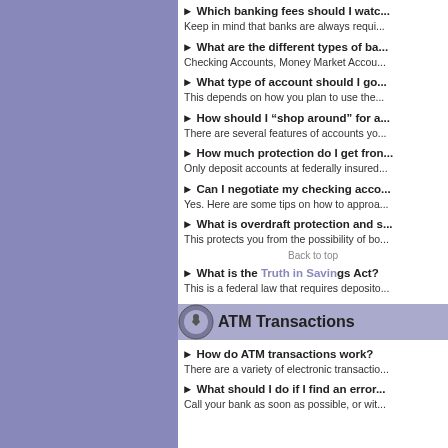► Which banking fees should I watch out for?
Keep in mind that banks are always requi...
► What are the different types of bank accounts?
Checking Accounts, Money Market Accou...
► What type of account should I go with?
This depends on how you plan to use the...
► How should I "shop around" for a bank account?
There are several features of accounts yo...
► How much protection do I get from...?
Only deposit accounts at federally insured...
► Can I negotiate my checking account fees?
Yes. Here are some tips on how to approa...
► What is overdraft protection and should I use it?
This protects you from the possibility of bo...
Back to top
► What is the Truth in Savings Act?
This is a federal law that requires deposito...
ATM Transactions
► How do ATM transactions work?
There are a variety of electronic transactio...
► What should I do if I find an error...?
Call your bank as soon as possible, or wit...